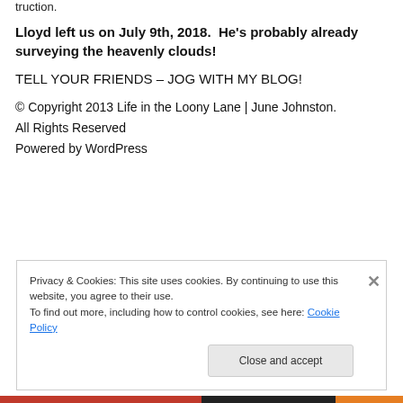truction.
Lloyd left us on July 9th, 2018.  He's probably already surveying the heavenly clouds!
TELL YOUR FRIENDS – JOG WITH MY BLOG!
© Copyright 2013 Life in the Loony Lane | June Johnston. All Rights Reserved
Powered by WordPress
Privacy & Cookies: This site uses cookies. By continuing to use this website, you agree to their use.
To find out more, including how to control cookies, see here: Cookie Policy
Close and accept